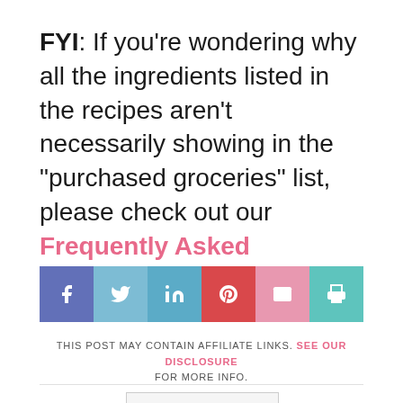FYI: If you're wondering why all the ingredients listed in the recipes aren't necessarily showing in the "purchased groceries" list, please check out our Frequently Asked Questions!
[Figure (infographic): Social share bar with 6 buttons: Facebook (blue-purple), Twitter (light blue), LinkedIn (teal-blue), Pinterest (red), Email (pink), Print (teal)]
THIS POST MAY CONTAIN AFFILIATE LINKS. SEE OUR DISCLOSURE FOR MORE INFO.